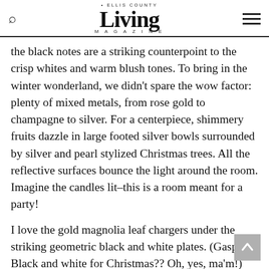Ellis County Living Magazine
the black notes are a striking counterpoint to the crisp whites and warm blush tones. To bring in the winter wonderland, we didn't spare the wow factor: plenty of mixed metals, from rose gold to champagne to silver. For a centerpiece, shimmery fruits dazzle in large footed silver bowls surrounded by silver and pearl stylized Christmas trees. All the reflective surfaces bounce the light around the room. Imagine the candles lit–this is a room meant for a party!
I love the gold magnolia leaf chargers under the striking geometric black and white plates. (Gasp! Black and white for Christmas?? Oh, yes, ma'm!) We finished off this sophisticated setting with rose